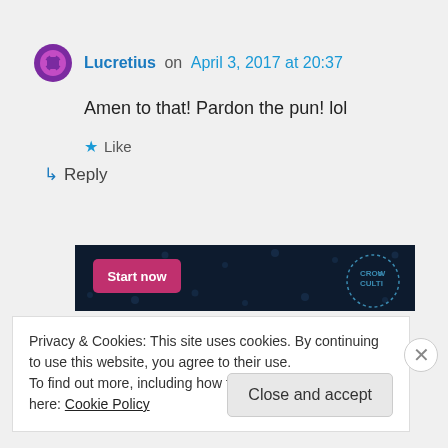Lucretius on April 3, 2017 at 20:37
Amen to that! Pardon the pun! lol
★ Like
↳ Reply
[Figure (screenshot): Advertisement banner with dark background, pink 'Start now' button, dot pattern, and CROWD logo]
Privacy & Cookies: This site uses cookies. By continuing to use this website, you agree to their use.
To find out more, including how to control cookies, see here: Cookie Policy
Close and accept